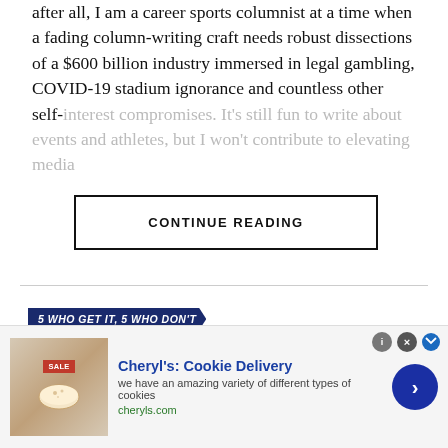after all, I am a career sports columnist at a time when a fading column-writing craft needs robust dissections of a $600 billion industry immersed in legal gambling, COVID-19 stadium ignorance and countless other self-interest compromises. It's still fun to write about events and athletes, but I won't contribute to elevating media…
CONTINUE READING
5 WHO GET IT, 5 WHO DON'T
5 Who Get It, 5 Who Don't
kly analysis of the best and worst in sports media from a
[Figure (infographic): Advertisement banner for Cheryl's Cookie Delivery with cookie image, title, description, and navigation arrow]